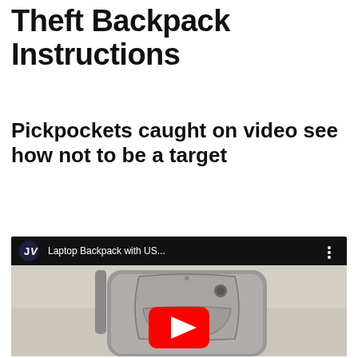Theft Backpack Instructions
Pickpockets caught on video see how not to be a target
[Figure (screenshot): YouTube video embed showing a gray laptop backpack with USB port, titled 'Laptop Backpack with US...' from channel JV, with a red YouTube play button overlay]